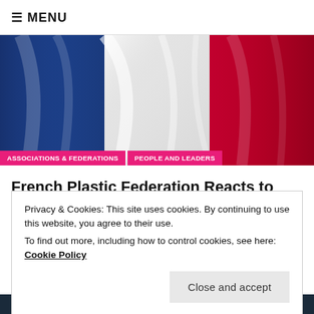≡ MENU
[Figure (illustration): French tricolor flag waving — blue on left, white in center, red on right — with fabric texture and folds]
ASSOCIATIONS & FEDERATIONS   PEOPLE AND LEADERS
French Plastic Federation Reacts to Macron Plastic Sta…
Privacy & Cookies: This site uses cookies. By continuing to use this website, you agree to their use.
To find out more, including how to control cookies, see here: Cookie Policy
Close and accept
— by AXEL BARRETT
April 18, 2022